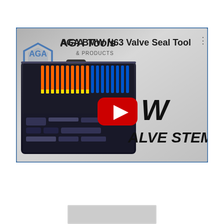[Figure (screenshot): YouTube video thumbnail for 'AGA BMW N63 Valve Seal Tool' by AGA Tools & Products. Shows a tool kit in an open case with various tools, the AGA logo (blue diamond with 'AGA' text), and overlaid italic text reading 'W' and 'ALVE STEM TOOL'. A red YouTube play button is centered on the thumbnail. Three-dot menu icon is in top-right corner.]
[Figure (screenshot): Partial thumbnail of another video at bottom of page, mostly cut off.]